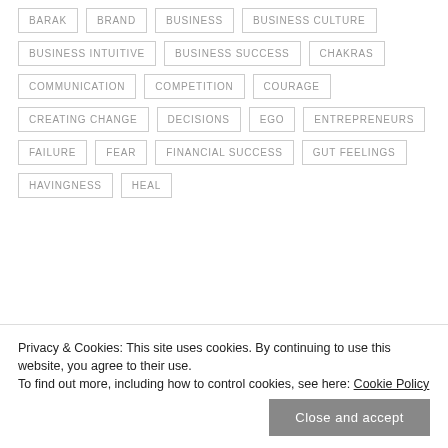BARAK
BRAND
BUSINESS
BUSINESS CULTURE
BUSINESS INTUITIVE
BUSINESS SUCCESS
CHAKRAS
COMMUNICATION
COMPETITION
COURAGE
CREATING CHANGE
DECISIONS
EGO
ENTREPRENEURS
FAILURE
FEAR
FINANCIAL SUCCESS
GUT FEELINGS
HAVINGNESS
HEAL
Privacy & Cookies: This site uses cookies. By continuing to use this website, you agree to their use. To find out more, including how to control cookies, see here: Cookie Policy
Close and accept